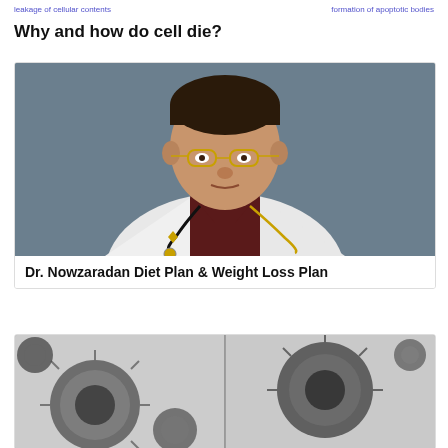leakage of cellular contents | formation of apoptotic bodies
Why and how do cell die?
[Figure (photo): Portrait photo of an older male doctor wearing a white lab coat and stethoscope, with a dark background]
Dr. Nowzaradan Diet Plan & Weight Loss Plan
[Figure (photo): Electron microscope image showing coronavirus particles in grayscale]